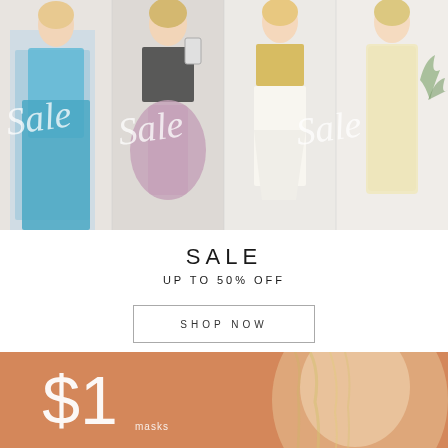[Figure (photo): Four young women modeling summer/casual fashion outfits against a white background. Cursive 'Sale Sale Sale' text overlaid on the image. From left: blue patterned wide-leg pants with crop top, dark crop top with floral skirt, gold sequin crop top with white skirt, cream/yellow ruched dress.]
SALE
UP TO 50% OFF
SHOP NOW
[Figure (photo): Orange/terracotta background banner showing '$1' in large white text with smaller text below, and a partial photo of a blonde woman's face on the right side.]